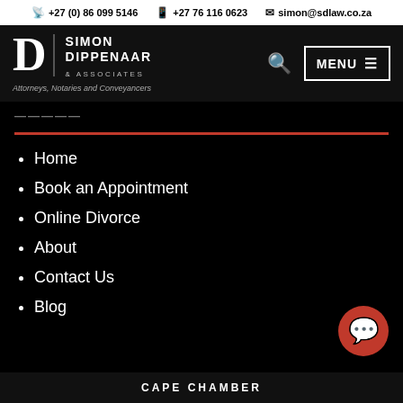📠 +27 (0) 86 099 5146  📱 +27 76 116 0623  ✉ simon@sdlaw.co.za
[Figure (logo): Simon Dippenaar & Associates logo with stylized D and text. Attorneys, Notaries and Conveyancers.]
COPE OE LIVING (partial, cut off)
Home
Book an Appointment
Online Divorce
About
Contact Us
Blog
CAPE CHAMBER (partial)